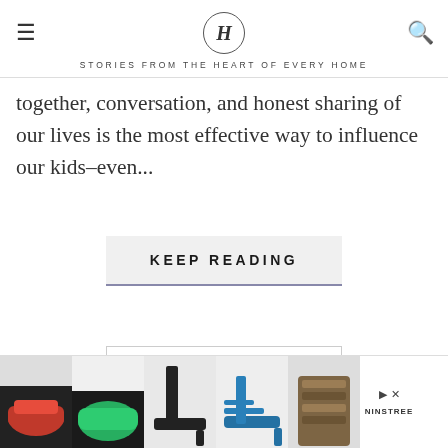H — STORIES FROM THE HEART OF EVERY HOME
together, conversation, and honest sharing of our lives is the most effective way to influence our kids–even...
KEEP READING
Search and hit enter...
[Figure (advertisement): Ad banner showing five pairs of women's shoes in red, green, black, blue, and brown/patterned, with Ninstree branding and play/skip controls]